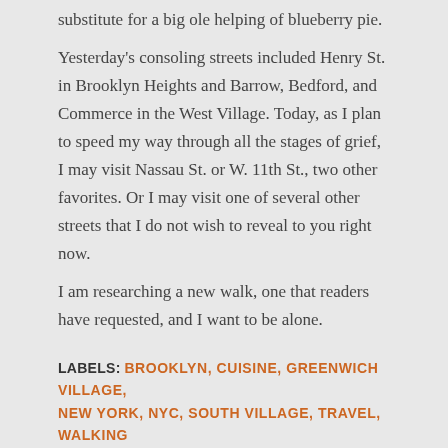substitute for a big ole helping of blueberry pie.
Yesterday's consoling streets included Henry St. in Brooklyn Heights and Barrow, Bedford, and Commerce in the West Village. Today, as I plan to speed my way through all the stages of grief, I may visit Nassau St. or W. 11th St., two other favorites. Or I may visit one of several other streets that I do not wish to reveal to you right now.
I am researching a new walk, one that readers have requested, and I want to be alone.
LABELS: BROOKLYN, CUISINE, GREENWICH VILLAGE, NEW YORK, NYC, SOUTH VILLAGE, TRAVEL, WALKING
[Figure (other): Email/envelope icon in orange]
SHARE
Comments